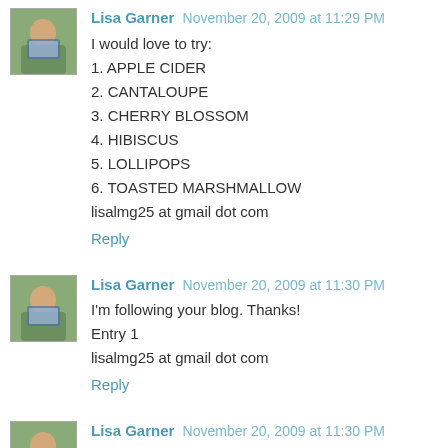[Figure (photo): Avatar photo of Lisa Garner - person reading a book outdoors]
Lisa Garner November 20, 2009 at 11:29 PM
I would love to try:
1. APPLE CIDER
2. CANTALOUPE
3. CHERRY BLOSSOM
4. HIBISCUS
5. LOLLIPOPS
6. TOASTED MARSHMALLOW
lisalmg25 at gmail dot com
Reply
[Figure (photo): Avatar photo of Lisa Garner - person reading a book outdoors]
Lisa Garner November 20, 2009 at 11:30 PM
I'm following your blog. Thanks!
Entry 1
lisalmg25 at gmail dot com
Reply
[Figure (photo): Avatar photo of Lisa Garner - person reading a book outdoors]
Lisa Garner November 20, 2009 at 11:30 PM